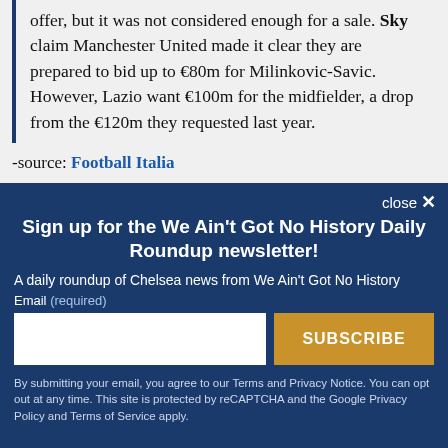offer, but it was not considered enough for a sale. Sky claim Manchester United made it clear they are prepared to bid up to €80m for Milinkovic-Savic. However, Lazio want €100m for the midfielder, a drop from the €120m they requested last year.
-source: Football Italia
close ×
Sign up for the We Ain't Got No History Daily Roundup newsletter!
A daily roundup of Chelsea news from We Ain't Got No History
Email (required)
SUBSCRIBE
By submitting your email, you agree to our Terms and Privacy Notice. You can opt out at any time. This site is protected by reCAPTCHA and the Google Privacy Policy and Terms of Service apply.